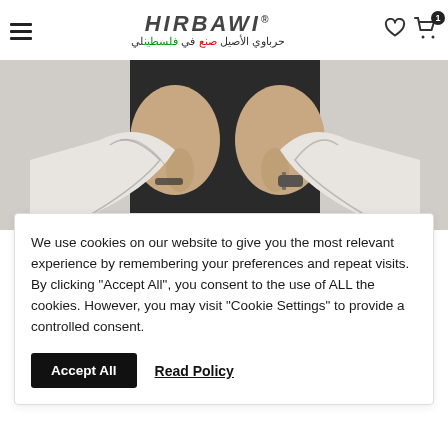HIRBAWI® حرباوي الأصيل صنع في فلسطين
[Figure (photo): Close-up photo of hands holding a black and white keffiyeh/Palestinian scarf against a dark garment background]
We use cookies on our website to give you the most relevant experience by remembering your preferences and repeat visits. By clicking "Accept All", you consent to the use of ALL the cookies. However, you may visit "Cookie Settings" to provide a controlled consent.
Accept All   Read Policy